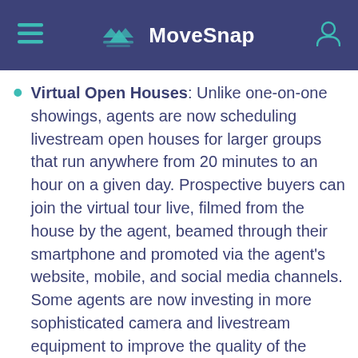MoveSnap
Virtual Open Houses: Unlike one-on-one showings, agents are now scheduling livestream open houses for larger groups that run anywhere from 20 minutes to an hour on a given day. Prospective buyers can join the virtual tour live, filmed from the house by the agent, beamed through their smartphone and promoted via the agent's website, mobile, and social media channels. Some agents are now investing in more sophisticated camera and livestream equipment to improve the quality of the showing. This can include lavalier microphones (the ones you pin to your